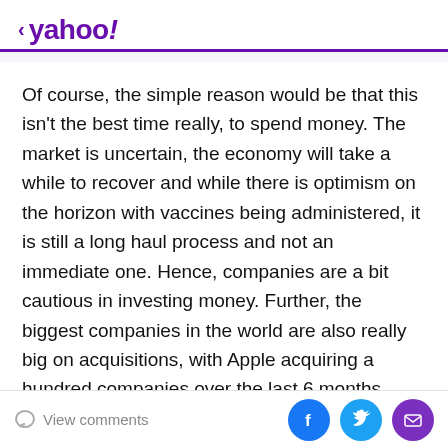< yahoo!
Of course, the simple reason would be that this isn't the best time really, to spend money. The market is uncertain, the economy will take a while to recover and while there is optimism on the horizon with vaccines being administered, it is still a long haul process and not an immediate one. Hence, companies are a bit cautious in investing money. Further, the biggest companies in the world are also really big on acquisitions, with Apple acquiring a hundred companies over the last 6 months. That means an acquisition every three to four weeks. Furthermore, tech companies, famous for having a lot of
View comments